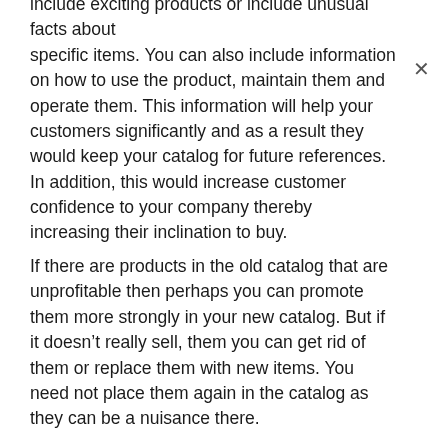include exciting products or include unusual facts about specific items. You can also include information on how to use the product, maintain them and operate them. This information will help your customers significantly and as a result they would keep your catalog for future references. In addition, this would increase customer confidence to your company thereby increasing their inclination to buy.
If there are products in the old catalog that are unprofitable then perhaps you can promote them more strongly in your new catalog. But if it doesn't really sell, them you can get rid of them or replace them with new items. You need not place them again in the catalog as they can be a nuisance there.